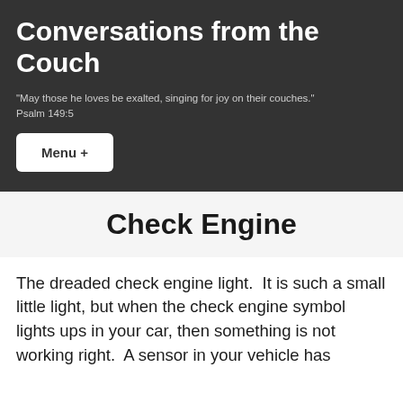Conversations from the Couch
"May those he loves be exalted, singing for joy on their couches."
Psalm 149:5
Menu +
Check Engine
The dreaded check engine light.  It is such a small little light, but when the check engine symbol lights ups in your car, then something is not working right.  A sensor in your vehicle has